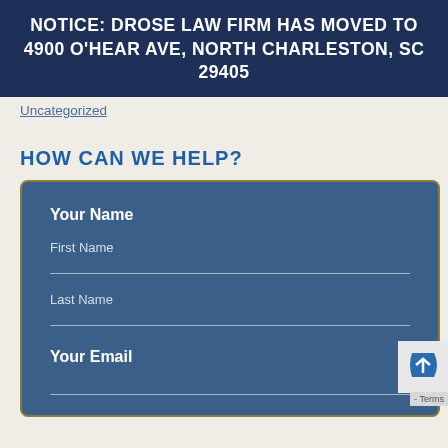NOTICE: DROSE LAW FIRM HAS MOVED TO 4900 O'HEAR AVE, NORTH CHARLESTON, SC 29405
Uncategorized
HOW CAN WE HELP?
Your Name
First Name
Last Name
Your Email